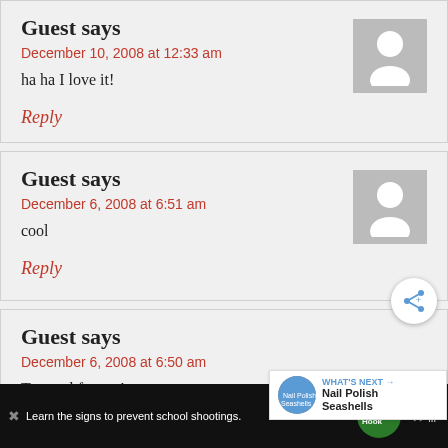Guest says
December 10, 2008 at 12:33 am
ha ha I love it!
Reply
Guest says
December 6, 2008 at 6:51 am
cool
Reply
Guest says
December 6, 2008 at 6:50 am
To cruel for me!
Learn the signs to prevent school shootings.